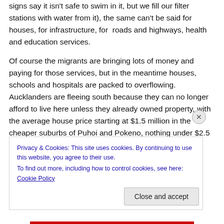signs say it isn't safe to swim in it, but we fill our filter stations with water from it), the same can't be said for houses, for infrastructure, for roads and highways, health and education services.
Of course the migrants are bringing lots of money and paying for those services, but in the meantime houses, schools and hospitals are packed to overflowing. Aucklanders are fleeing south because they can no longer afford to live here unless they already owned property, with the average house price starting at $1.5 million in the cheaper suburbs of Puhoi and Pokeno, nothing under $2.5
Privacy & Cookies: This site uses cookies. By continuing to use this website, you agree to their use.
To find out more, including how to control cookies, see here: Cookie Policy
Close and accept